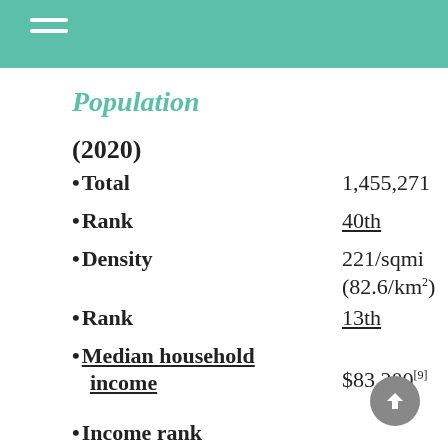Population
(2020)
Total   1,455,271
Rank   40th
Density   221/sqmi (82.6/km²)
Rank   13th
Median household income   $83,200[9]
Income rank   4th
Demonym(s)   Hawaii resident,[10] Hawaiian[a]